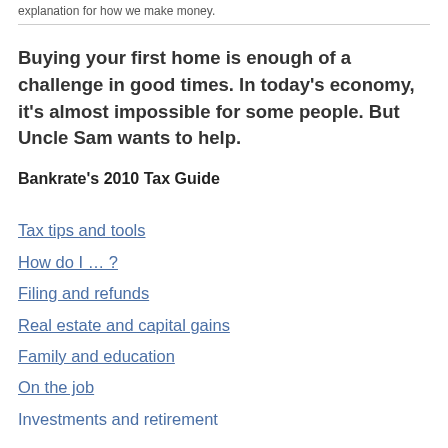explanation for how we make money.
Buying your first home is enough of a challenge in good times. In today's economy, it's almost impossible for some people. But Uncle Sam wants to help.
Bankrate's 2010 Tax Guide
Tax tips and tools
How do I … ?
Filing and refunds
Real estate and capital gains
Family and education
On the job
Investments and retirement